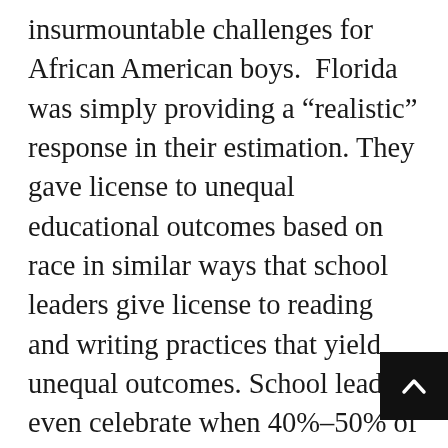insurmountable challenges for African American boys. Florida was simply providing a “realistic” response in their estimation. They gave license to unequal educational outcomes based on race in similar ways that school leaders give license to reading and writing practices that yield unequal outcomes. School leaders even celebrate when 40%–50% of their African American boys are reading at or above grade level if these percentages represent an increase. These decisions are a radical departure from “all men are created equal.” The